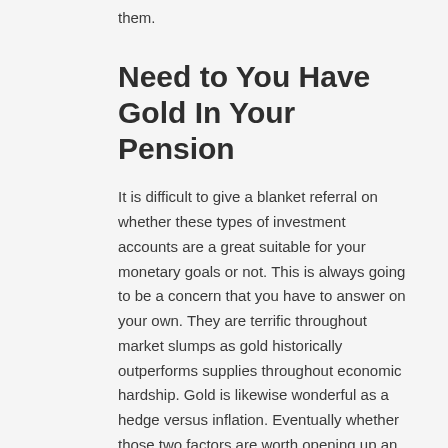them.
Need to You Have Gold In Your Pension
It is difficult to give a blanket referral on whether these types of investment accounts are a great suitable for your monetary goals or not. This is always going to be a concern that you have to answer on your own. They are terrific throughout market slumps as gold historically outperforms supplies throughout economic hardship. Gold is likewise wonderful as a hedge versus inflation. Eventually whether those two factors are worth opening up an entirely brand-new represent you is going to be